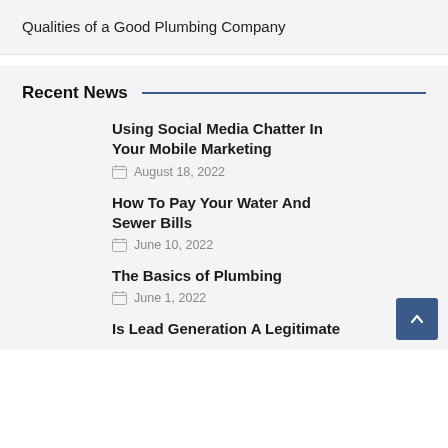Qualities of a Good Plumbing Company
Recent News
Using Social Media Chatter In Your Mobile Marketing
August 18, 2022
How To Pay Your Water And Sewer Bills
June 10, 2022
The Basics of Plumbing
June 1, 2022
Is Lead Generation A Legitimate